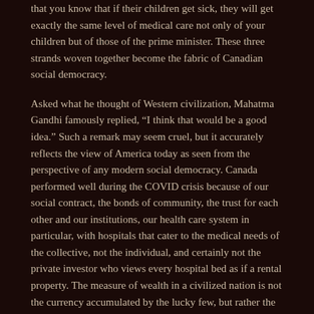that you know that if their children get sick, they will get exactly the same level of medical care not only of your children but of those of the prime minister. These three strands woven together become the fabric of Canadian social democracy.
Asked what he thought of Western civilization, Mahatma Gandhi famously replied, “I think that would be a good idea.” Such a remark may seem cruel, but it accurately reflects the view of America today as seen from the perspective of any modern social democracy. Canada performed well during the COVID crisis because of our social contract, the bonds of community, the trust for each other and our institutions, our health care system in particular, with hospitals that cater to the medical needs of the collective, not the individual, and certainly not the private investor who views every hospital bed as if a rental property. The measure of wealth in a civilized nation is not the currency accumulated by the lucky few, but rather the strength and resonance of social relations and the bonds of reciprocity that connect all people in common purpose.
This has nothing to do with political ideology, and everything to do with the quality of life. Finns live longer and are less likely to die in childhood or in giving birth than Americans. Danes earn roughly the same after-tax income as Americans, while working 20 percent less. They pay in taxes an extra 19 cents for every dollar earned. But in return they get free health care, free education from pre-school through university, and the opportunity to prosper in a thriving free-market economy with dramatically lower levels of poverty, homelessness,